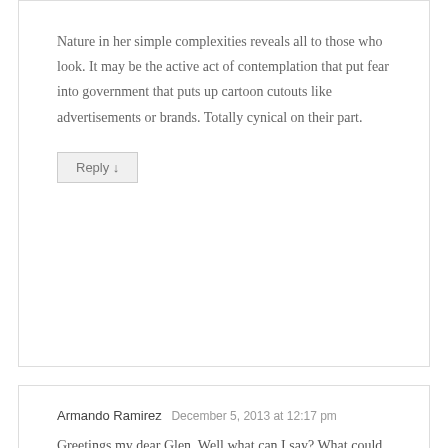Nature in her simple complexities reveals all to those who look. It may be the active act of contemplation that put fear into government that puts up cartoon cutouts like advertisements or brands. Totally cynical on their part.
Reply ↓
Armando Ramirez  December 5, 2013 at 12:17 pm
Greetings my dear Glen. Well what can I say? What could you wait from a government like this?